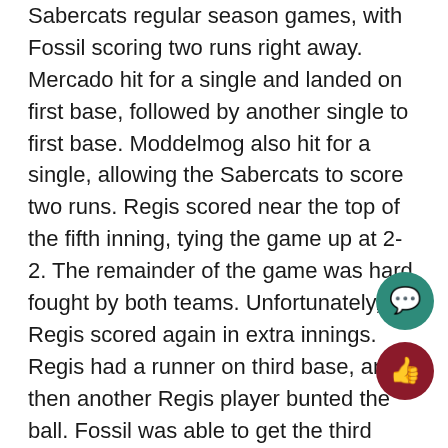Sabercats regular season games, with Fossil scoring two runs right away. Mercado hit for a single and landed on first base, followed by another single to first base. Moddelmog also hit for a single, allowing the Sabercats to score two runs. Regis scored near the top of the fifth inning, tying the game up at 2-2. The remainder of the game was hard fought by both teams. Unfortunately, Regis scored again in extra innings. Regis had a runner on third base, and then another Regis player bunted the ball. Fossil was able to get the third base runner out. Unfortunately, an inaccurate throw allowed the player rounding second base to push all the way to home plate. making the final score 3-2.
Because of the single elimination rule, the